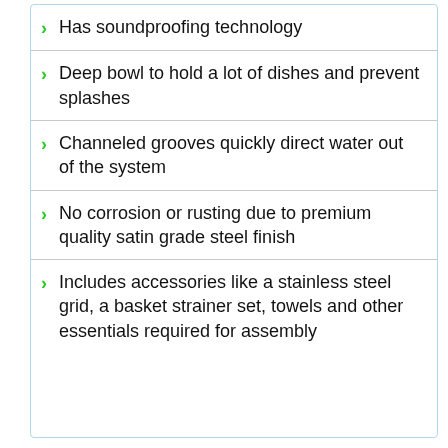Has soundproofing technology
Deep bowl to hold a lot of dishes and prevent splashes
Channeled grooves quickly direct water out of the system
No corrosion or rusting due to premium quality satin grade steel finish
Includes accessories like a stainless steel grid, a basket strainer set, towels and other essentials required for assembly